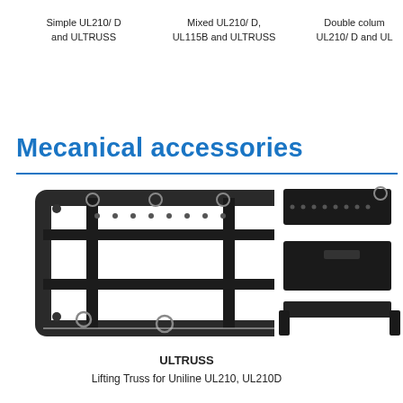Simple UL210/ D and ULTRUSS
Mixed UL210/ D, UL115B and ULTRUSS
Double colum UL210/ D and UL
Mecanical accessories
[Figure (photo): ULTRUSS Lifting Truss frame for Uniline UL210, UL210D — black metal rectangular frame with cable attachments]
[Figure (photo): Side-mounted mechanical accessory brackets in black metal, shown at angle]
ULTRUSS
Lifting Truss for Uniline UL210, UL210D